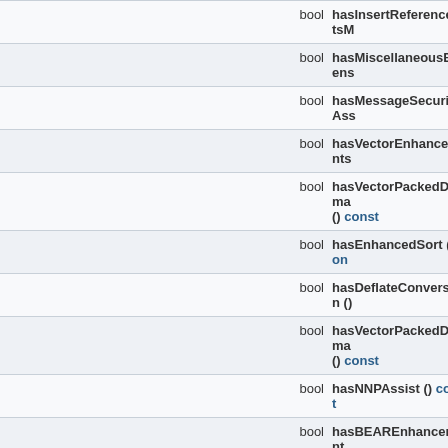|  | Type | Name |
| --- | --- | --- |
|  | bool | hasInsertReferenceBitsM... |
|  | bool | hasMiscellaneousExtens... |
|  | bool | hasMessageSecurityAss... |
|  | bool | hasVectorEnhancements... |
|  | bool | hasVectorPackedDecima... () const |
|  | bool | hasEnhancedSort () con... |
|  | bool | hasDeflateConversion ()... |
|  | bool | hasVectorPackedDecima... () const |
|  | bool | hasNNPAssist () const |
|  | bool | hasBEAREnhancement ... |
|  | bool | hasResetDATProtection... |
|  | bool | hasProcessorActivityIns... const |
|  | bool | hasSoftFloat () const |
|  | bool | isPC32DBLSymbol (cons... *GV, CodeModel::Model |
|  | bool | isTargetELF ()... |